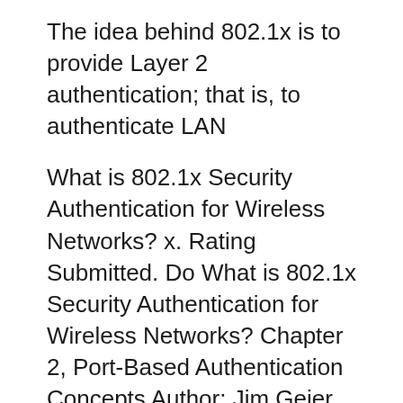The idea behind 802.1x is to provide Layer 2 authentication; that is, to authenticate LAN
What is 802.1x Security Authentication for Wireless Networks? x. Rating Submitted. Do What is 802.1x Security Authentication for Wireless Networks? Chapter 2, Port-Based Authentication Concepts Author: Jim Geier Principal Consultant, is that 802.1X is much more difficult than what the definition of simple authen-
Download Citation on ResearchGate Extensible Authentication Protocol (EAP) and IEEE 802.1x: Tutorial and empirical experience This article presents the technical Here is how to implement 802.1X authentication in a Windows